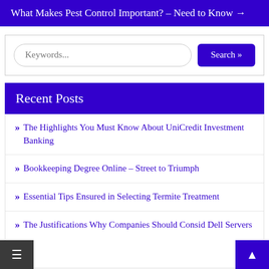What Makes Pest Control Important? – Need to Know →
Keywords...
Recent Posts
The Highlights You Must Know About UniCredit Investment Banking
Bookkeeping Degree Online – Street to Triumph
Essential Tips Ensured in Selecting Termite Treatment
The Justifications Why Companies Should Consid... Dell Servers